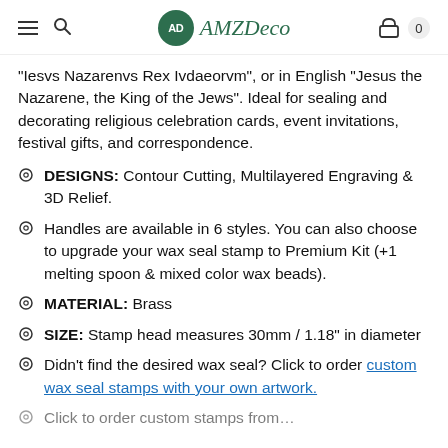AMZDeco — navigation header with hamburger, search, logo, cart
"Iesvs Nazarenvs Rex Ivdaeorvm", or in English "Jesus the Nazarene, the King of the Jews". Ideal for sealing and decorating religious celebration cards, event invitations, festival gifts, and correspondence.
DESIGNS: Contour Cutting, Multilayered Engraving & 3D Relief.
Handles are available in 6 styles. You can also choose to upgrade your wax seal stamp to Premium Kit (+1 melting spoon & mixed color wax beads).
MATERIAL: Brass
SIZE: Stamp head measures 30mm / 1.18" in diameter
Didn't find the desired wax seal? Click to order custom wax seal stamps with your own artwork.